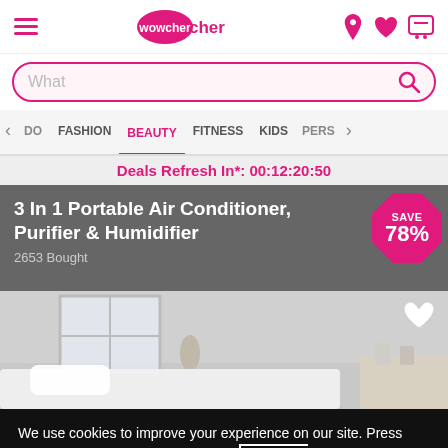Wowcher navigation header with logo, hamburger menu, location, wishlist, and cart icons
What
DO  FASHION  BEAUTY  FITNESS  KIDS  PERS
Deals Refresh In*: 00:12:20:50
3 In 1 Portable Air Conditioner, Purifier & Humidifier
2653 Bought
[Figure (photo): Room interior showing a bed with white pillow against a grey wall, with a vase of white flowers near a window, and a bedside table with items. A white heart icon is overlaid in the top-right corner.]
We use cookies to improve your experience on our site. Press 'ACCEPT' or manage your options. Privacy & Cookies Policy
Options
ACCEPT